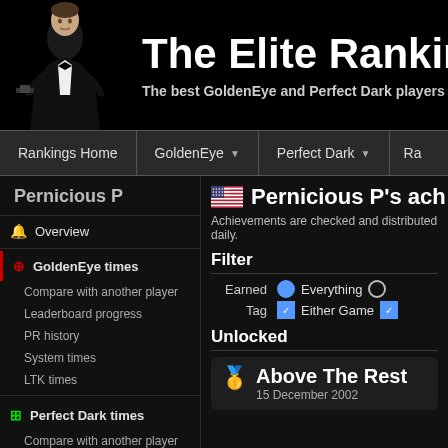The Elite Rankings — The best GoldenEye and Perfect Dark players in the world
Navigation: Rankings Home | GoldenEye | Perfect Dark | Ra...
Pernicious P
Overview
GoldenEye times
Compare with another player
Leaderboard progress
PR history
System times
LTK times
Perfect Dark times
Compare with another player
Leaderboard progress
PR history
System times
🇺🇸 Pernicious P's achievements
Achievements are checked and distributed daily.
Filter
Earned: Everything
Tag: Either Game
Unlocked
🥇 Above The Rest
15 December 2002